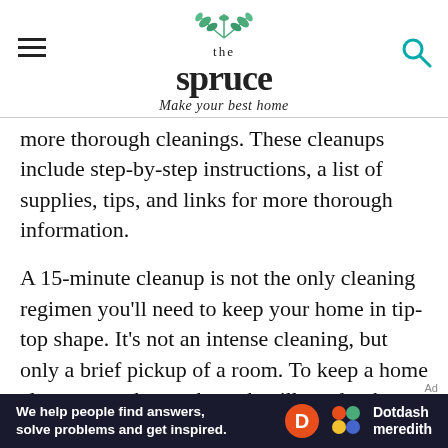the spruce — Make your best home
more thorough cleanings. These cleanups include step-by-step instructions, a list of supplies, tips, and links for more thorough information.
A 15-minute cleanup is not the only cleaning regimen you’ll need to keep your home in tip-top shape. It’s not an intense cleaning, but only a brief pickup of a room. To keep a home clean, more thorough work will need to be done according to your cleaning schedule. Before intensely cleaning a room, it’s a good idea to
[Figure (other): Dotdash Meredith advertisement banner: 'We help people find answers, solve problems and get inspired.' with Dotdash Meredith logo.]